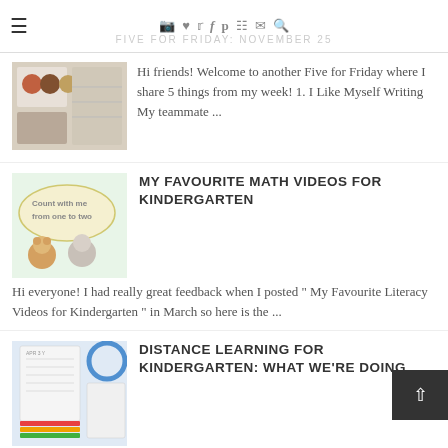FIVE FOR FRIDAY: NOVEMBER 25
[Figure (photo): Thumbnail image of classroom activity materials]
Hi friends! Welcome to another Five for Friday where I share 5 things from my week! 1. I Like Myself Writing My teammate ...
[Figure (photo): Thumbnail image showing 'Count with me from one to two' math video thumbnail with cartoon characters]
MY FAVOURITE MATH VIDEOS FOR KINDERGARTEN
Hi everyone! I had really great feedback when I posted " My Favourite Literacy Videos for Kindergarten " in March so here is the ...
[Figure (photo): Thumbnail image of distance learning worksheet materials with rainbow colors]
DISTANCE LEARNING FOR KINDERGARTEN: WHAT WE'RE DOING
Hi everyone! Hope your distance learning is going well! Many of you have been asking could share what I am doing for ...